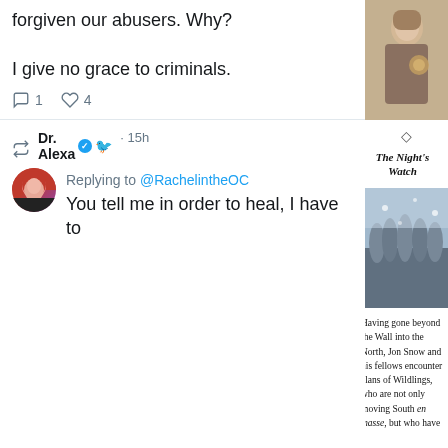forgiven our abusers. Why?

I give no grace to criminals.
1  4
[Figure (screenshot): Twitter/X user avatar with retweet icon, Dr. Alexa username with verified badge, 15h timestamp]
Replying to @RachelintheOC
You tell me in order to heal, I have to
[Figure (photo): A person in ornate robes holding an object, from a fantasy TV show]
◇
The Night's Watch
[Figure (photo): Group of soldiers/warriors in winter armor and fur coats standing in snow]
Having gone beyond the Wall into the North, Jon Snow and his fellows encounter clans of Wildlings, who are not only moving South en masse, but who have